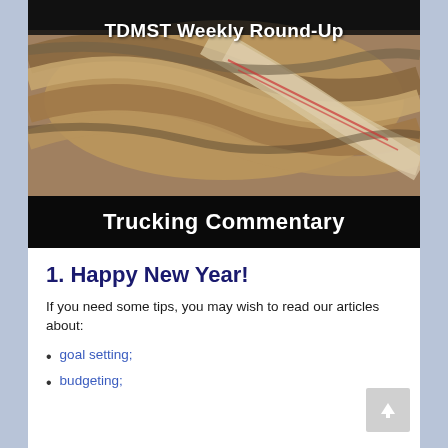[Figure (photo): Close-up photo of thick twisted rope/rigging with text overlay 'TDMST Weekly Round-Up' and a black bottom bar reading 'Trucking Commentary']
1. Happy New Year!
If you need some tips, you may wish to read our articles about:
goal setting;
budgeting;